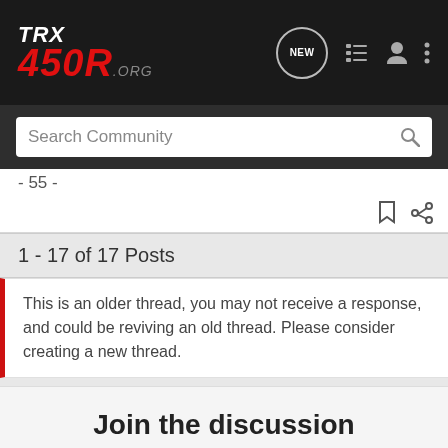[Figure (screenshot): TRX450R.org website navigation bar with logo, search bar, NEW chat button, list icon, user icon, and menu dots]
- 55 -
1 - 17 of 17 Posts
This is an older thread, you may not receive a response, and could be reviving an old thread. Please consider creating a new thread.
Join the discussion
[Figure (illustration): User avatar placeholder with decorative circular pattern background and blue top border]